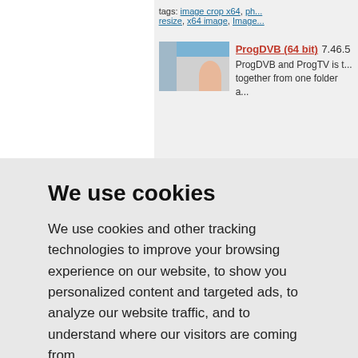tags: image crop x64, ph... resize, x64 image, Image...
ProgDVB (64 bit) 7.46.5 ProgDVB and ProgTV is t... together from one folder a...
We use cookies
We use cookies and other tracking technologies to improve your browsing experience on our website, to show you personalized content and targeted ads, to analyze our website traffic, and to understand where our visitors are coming from.
I agree   Change my preferences